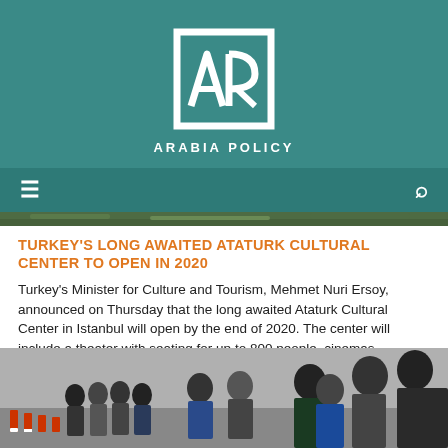[Figure (logo): Arabia Policy logo — white square bracket frame with stylized AR letters, and ARABIA POLICY text below, on teal background]
[Figure (photo): Navigation bar with hamburger menu icon on the left and search icon on the right, teal background]
[Figure (photo): Partial top image strip — outdoor scene with greenery]
TURKEY'S LONG AWAITED ATATURK CULTURAL CENTER TO OPEN IN 2020
Turkey's Minister for Culture and Tourism, Mehmet Nuri Ersoy, announced on Thursday that the long awaited Ataturk Cultural Center in Istanbul will open by the end of 2020. The center will include a theater with seating for up to 800 people, cinemas, exhibition spaces, and a world-class opera hall that will seat over 2,000. The [...]
[Figure (photo): A line of people being escorted by police/security personnel outdoors near orange bollards]